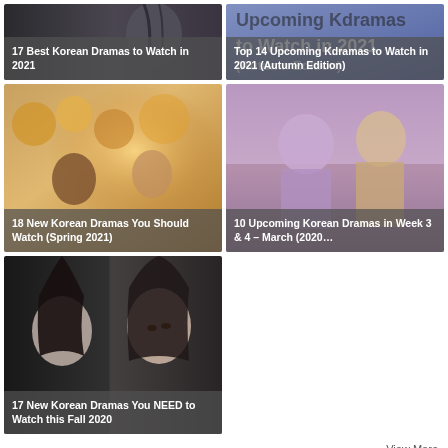[Figure (photo): Card: 17 Best Korean Dramas to Watch in 2021 - dark-haired woman looking sideways]
[Figure (photo): Card: Top 14 Upcoming Kdramas to Watch in 2021 (Autumn Edition) - text overlay on blurred image]
[Figure (photo): Card: 18 New Korean Dramas You Should Watch (Spring 2021) - two people outdoors in warm light]
[Figure (photo): Card: 10 Upcoming Korean Dramas in Week 3 & 4 - March (2020... - two people sitting together]
[Figure (photo): Card: 17 New Korean Dramas You NEED to Watch this Fall 2020 - two women facing viewer]
View More